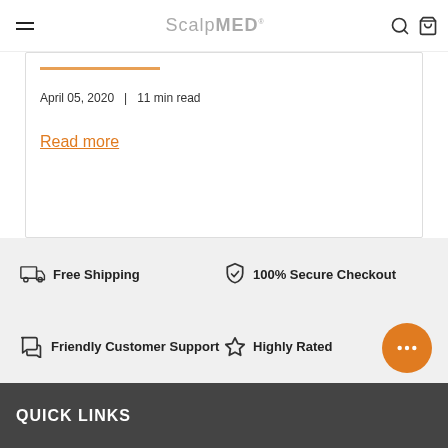ScalpMED
April 05, 2020  |  11 min read
Read more
Free Shipping
100% Secure Checkout
Friendly Customer Support
Highly Rated
QUICK LINKS